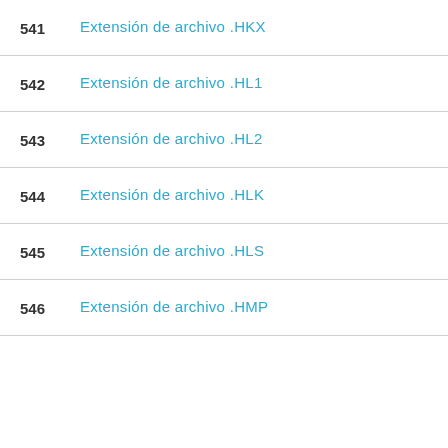541  Extensión de archivo .HKX
542  Extensión de archivo .HL1
543  Extensión de archivo .HL2
544  Extensión de archivo .HLK
545  Extensión de archivo .HLS
546  Extensión de archivo .HMP